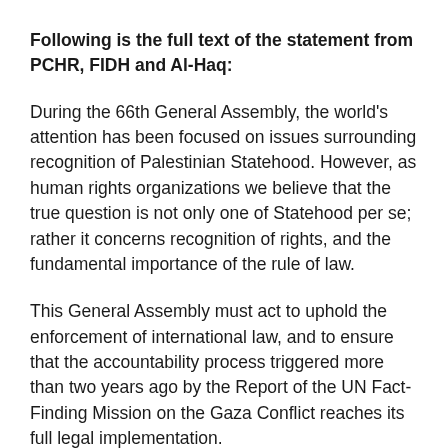Following is the full text of the statement from PCHR, FIDH and Al-Haq:
During the 66th General Assembly, the world's attention has been focused on issues surrounding recognition of Palestinian Statehood. However, as human rights organizations we believe that the true question is not only one of Statehood per se; rather it concerns recognition of rights, and the fundamental importance of the rule of law.
This General Assembly must act to uphold the enforcement of international law, and to ensure that the accountability process triggered more than two years ago by the Report of the UN Fact-Finding Mission on the Gaza Conflict reaches its full legal implementation.
The Fact-Finding Mission documented extensive evidence indicating the commission of crimes under international law